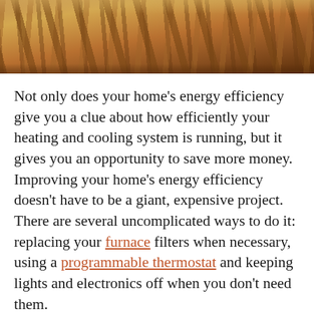[Figure (photo): Partial view of an attic or roof interior showing wooden rafters/joists and insulation material (pink/brown fibrous batting visible), photographed from below looking up.]
Not only does your home's energy efficiency give you a clue about how efficiently your heating and cooling system is running, but it gives you an opportunity to save more money. Improving your home's energy efficiency doesn't have to be a giant, expensive project. There are several uncomplicated ways to do it: replacing your furnace filters when necessary, using a programmable thermostat and keeping lights and electronics off when you don't need them.
The efficiency of your HVAC system can be a game-changer when it comes to saving money on energy. The more severe winter and summer months in Boynton Beach mean your HVAC system will be